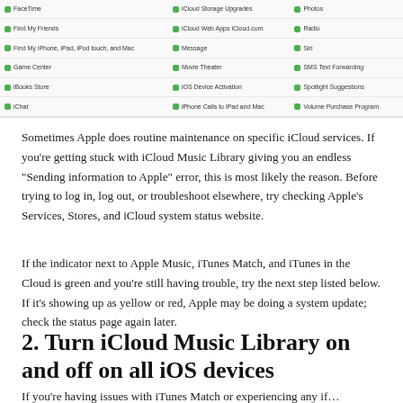[Figure (screenshot): Screenshot of iCloud system status page showing a list of services with green status indicators including FaceTime, Find My Friends, Find My iPhone iPad iPod touch and Mac, Game Center, iBooks Store, iChat, iCloud Storage Upgrades, iCloud Web Apps iCloud.com, Message, Movie Theater, iOS Device Activation, iPhone Calls to iPad and Mac, Photos, Radio, Siri, SMS Text Forwarding, Spotlight Suggestions, Volume Purchase Program]
Sometimes Apple does routine maintenance on specific iCloud services. If you’re getting stuck with iCloud Music Library giving you an endless “Sending information to Apple” error, this is most likely the reason. Before trying to log in, log out, or troubleshoot elsewhere, try checking Apple’s Services, Stores, and iCloud system status website.
If the indicator next to Apple Music, iTunes Match, and iTunes in the Cloud is green and you’re still having trouble, try the next step listed below. If it’s showing up as yellow or red, Apple may be doing a system update; check the status page again later.
2. Turn iCloud Music Library on and off on all iOS devices
If you’re having issues with iTunes Match or experiencing any if...